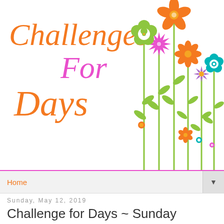[Figure (illustration): Blog header banner for 'Challenges For Days' with decorative illustrated flowers in orange, magenta/pink, green, teal, and purple on stems on the right side. The text 'Challenges' is in large italic orange font, 'For' in large italic magenta/pink font, and 'Days' in large italic orange font.]
Home
Sunday, May 12, 2019
Challenge for Days ~ Sunday